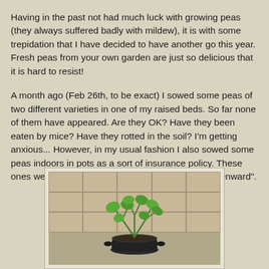Having in the past not had much luck with growing peas (they always suffered badly with mildew), it is with some trepidation that I have decided to have another go this year. Fresh peas from your own garden are just so delicious that it is hard to resist!
A month ago (Feb 26th, to be exact) I sowed some peas of two different varieties in one of my raised beds. So far none of them have appeared. Are they OK? Have they been eaten by mice? Have they rotted in the soil? I'm getting anxious... However, in my usual fashion I also sowed some peas indoors in pots as a sort of insurance policy. These ones were sown on 30th January. They are "Early Onward".
[Figure (photo): A black pot containing green pea seedlings (Early Onward variety) sitting on a kitchen counter or stove top, with beige/tan ceramic tiles visible in the background.]